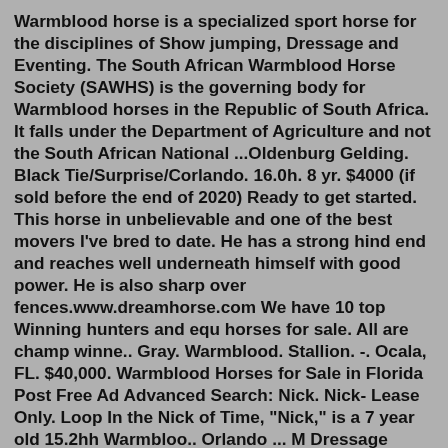Warmblood horse is a specialized sport horse for the disciplines of Show jumping, Dressage and Eventing. The South African Warmblood Horse Society (SAWHS) is the governing body for Warmblood horses in the Republic of South Africa. It falls under the Department of Agriculture and not the South African National ...Oldenburg Gelding. Black Tie/Surprise/Corlando. 16.0h. 8 yr. $4000 (if sold before the end of 2020) Ready to get started. This horse in unbelievable and one of the best movers I've bred to date. He has a strong hind end and reaches well underneath himself with good power. He is also sharp over fences.www.dreamhorse.com We have 10 top Winning hunters and equ horses for sale. All are champ winne.. Gray. Warmblood. Stallion. -. Ocala, FL. $40,000. Warmblood Horses for Sale in Florida Post Free Ad Advanced Search: Nick. Nick- Lease Only. Loop In the Nick of Time, "Nick," is a 7 year old 15.2hh Warmbloo.. Orlando ... M Dressage Seattle area warmblood horses for sale featuring dressage horses suitable for beginners through FEI level...